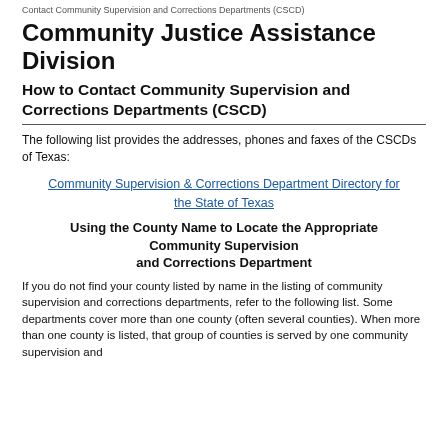Contact Community Supervision and Corrections Departments (CSCD)
Community Justice Assistance Division
How to Contact Community Supervision and Corrections Departments (CSCD)
The following list provides the addresses, phones and faxes of the CSCDs of Texas:
Community Supervision & Corrections Department Directory for the State of Texas
Using the County Name to Locate the Appropriate Community Supervision and Corrections Department
If you do not find your county listed by name in the listing of community supervision and corrections departments, refer to the following list. Some departments cover more than one county (often several counties). When more than one county is listed, that group of counties is served by one community supervision and